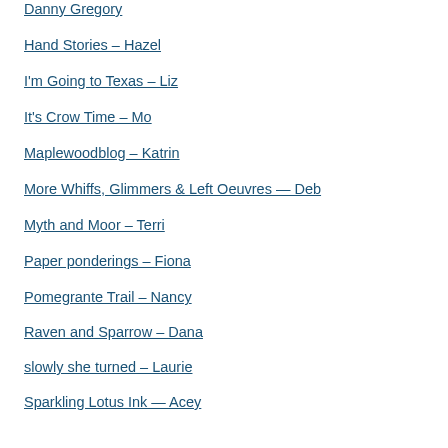Danny Gregory
Hand Stories – Hazel
I'm Going to Texas – Liz
It's Crow Time – Mo
Maplewoodblog – Katrin
More Whiffs, Glimmers & Left Oeuvres — Deb
Myth and Moor – Terri
Paper ponderings – Fiona
Pomegrante Trail – Nancy
Raven and Sparrow – Dana
slowly she turned – Laurie
Sparkling Lotus Ink — Acey
Spirit Cloth – Jude
Tales from the Bird Hut – Saskia
Virginia Mallon — Ginny
Wednesday's Child
Windthread – Grace
Woman with Wings – Peggy